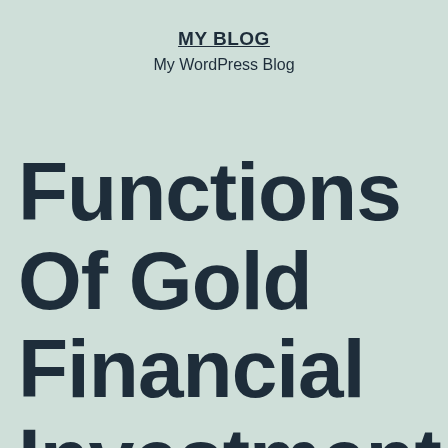MY BLOG
My WordPress Blog
Functions Of Gold Financial Investment That Make